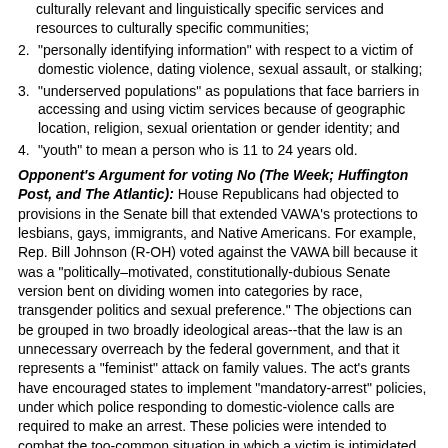culturally relevant and linguistically specific services and resources to culturally specific communities;
"personally identifying information" with respect to a victim of domestic violence, dating violence, sexual assault, or stalking;
"underserved populations" as populations that face barriers in accessing and using victim services because of geographic location, religion, sexual orientation or gender identity; and
"youth" to mean a person who is 11 to 24 years old.
Opponent's Argument for voting No (The Week; Huffington Post, and The Atlantic): House Republicans had objected to provisions in the Senate bill that extended VAWA's protections to lesbians, gays, immigrants, and Native Americans. For example, Rep. Bill Johnson (R-OH) voted against the VAWA bill because it was a "politically–motivated, constitutionally-dubious Senate version bent on dividing women into categories by race, transgender politics and sexual preference." The objections can be grouped in two broadly ideological areas--that the law is an unnecessary overreach by the federal government, and that it represents a "feminist" attack on family values. The act's grants have encouraged states to implement "mandatory-arrest" policies, under which police responding to domestic-violence calls are required to make an arrest. These policies were intended to combat the too-common situation in which a victim is intimidated into recanting an abuse accusation. Critics also say VAWA has been subject to waste, fraud, and abuse because of insufficient oversight.
Reference: Violence Against Women Reauthorization Act; Bill S. 47 ; vote number 13-SV019 on Feb 12, 2013
Voted NO on recommending Constitutional ban on flag desecration.
The Senate voted on a resolution which would recommend a